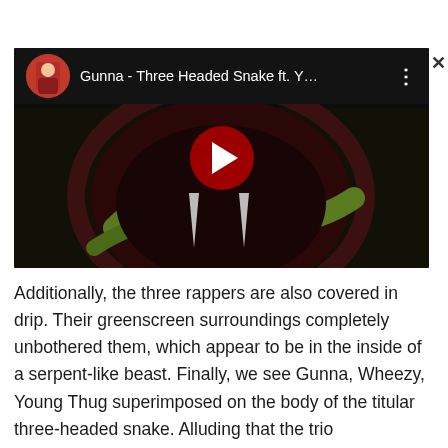[Figure (screenshot): Embedded YouTube video thumbnail for 'Gunna - Three Headed Snake ft. Y...' showing a dark snake-themed image with YouTube play button overlay and channel avatar]
Additionally, the three rappers are also covered in drip. Their greenscreen surroundings completely unbothered them, which appear to be in the inside of a serpent-like beast. Finally, we see Gunna, Wheezy, Young Thug superimposed on the body of the titular three-headed snake. Alluding that the trio